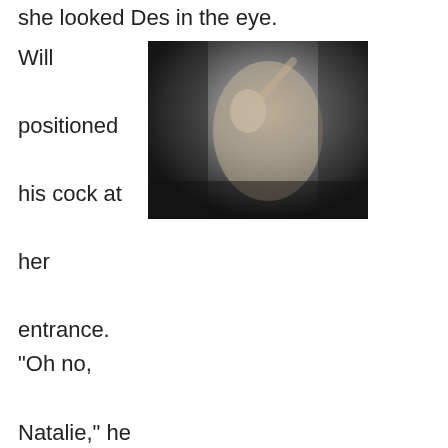she looked Des in the eye.
Will positioned his cock at her entrance. “Oh no, Natalie,” he
[Figure (photo): Black and white vintage photograph of a reclining nude woman holding a string of pearls above her head, looking upward, in a classic early 20th century artistic style.]
said shifting his hips so his cock slid in further. “You are going to fuck me.” She looked down at him, and he nodded at her. “Go ahead, fuck me.”
This was a new game for Natalie. Not that she’d